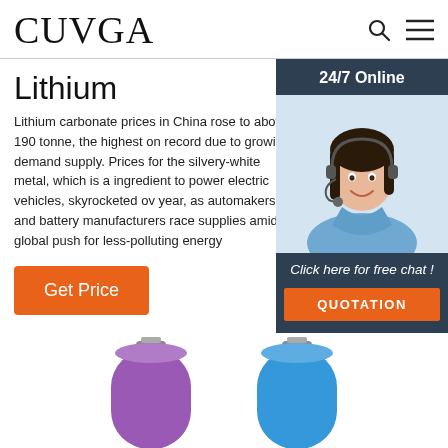CUVGA
Lithium
Lithium carbonate prices in China rose to above 190 tonne, the highest on record due to growing demand supply. Prices for the silvery-white metal, which is a ingredient to power electric vehicles, skyrocketed ov year, as automakers and battery manufacturers race supplies amid a global push for less-polluting energy
Get Price
[Figure (illustration): 24/7 Online chat support sidebar with a woman wearing a headset and buttons for free chat and quotation]
[Figure (photo): Two cylindrical lithium batteries, one purple and one blue, shown from slightly above at the bottom of the page]